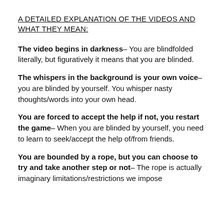A DETAILED EXPLANATION OF THE VIDEOS AND WHAT THEY MEAN:
The video begins in darkness– You are blindfolded literally, but figuratively it means that you are blinded.
The whispers in the background is your own voice– you are blinded by yourself. You whisper nasty thoughts/words into your own head.
You are forced to accept the help if not, you restart the game– When you are blinded by yourself, you need to learn to seek/accept the help of/from friends.
You are bounded by a rope, but you can choose to try and take another step or not– The rope is actually imaginary limitations/restrictions we impose